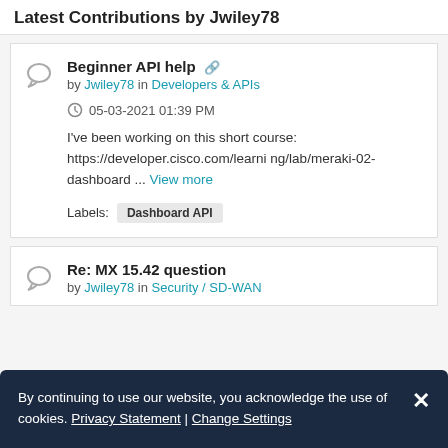Latest Contributions by Jwiley78
Beginner API help
by Jwiley78 in Developers & APIs
05-03-2021 01:39 PM
I've been working on this short course: https://developer.cisco.com/learning/lab/meraki-02-dashboard ... View more
Labels: Dashboard API
Re: MX 15.42 question
by Jwiley78 in Security / SD-WAN
By continuing to use our website, you acknowledge the use of cookies. Privacy Statement | Change Settings